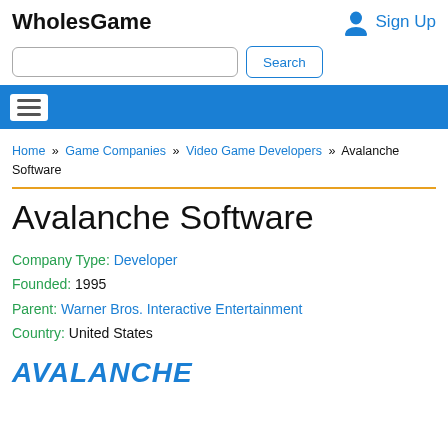WholesGame | Sign Up
Search
Menu navigation
Home » Game Companies » Video Game Developers » Avalanche Software
Avalanche Software
Company Type: Developer
Founded: 1995
Parent: Warner Bros. Interactive Entertainment
Country: United States
AVALANCHE